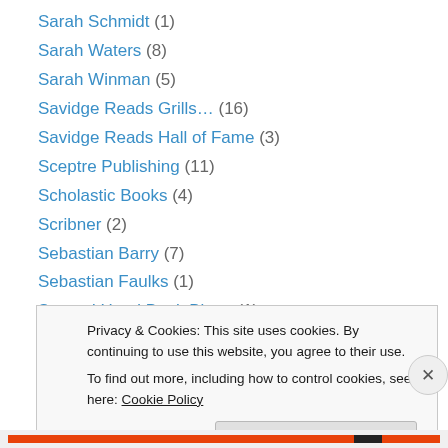Sarah Schmidt (1)
Sarah Waters (8)
Sarah Winman (5)
Savidge Reads Grills… (16)
Savidge Reads Hall of Fame (3)
Sceptre Publishing (11)
Scholastic Books (4)
Scribner (2)
Sebastian Barry (7)
Sebastian Faulks (1)
Second Hand Book Binge (1)
Sensation Novels (20)
Seren Books (1)
Privacy & Cookies: This site uses cookies. By continuing to use this website, you agree to their use.
To find out more, including how to control cookies, see here: Cookie Policy